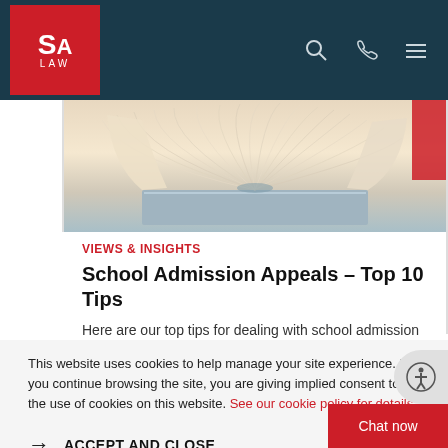SA LAW
[Figure (photo): Open book with fanned pages, viewed from the side, lying on a surface with reddish accent in background.]
VIEWS & INSIGHTS
School Admission Appeals – Top 10 Tips
Here are our top tips for dealing with school admission appeals from Senior Associate Clare Mackay
This website uses cookies to help manage your site experience. If you continue browsing the site, you are giving implied consent to the use of cookies on this website. See our cookie policy for details
ACCEPT AND CLOSE